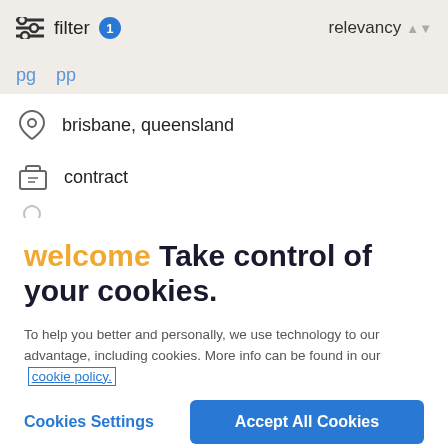filter 1   relevancy
brisbane, queensland
contract
welcome Take control of your cookies.
To help you better and personally, we use technology to our advantage, including cookies. More info can be found in our cookie policy.
Cookies Settings   Accept All Cookies